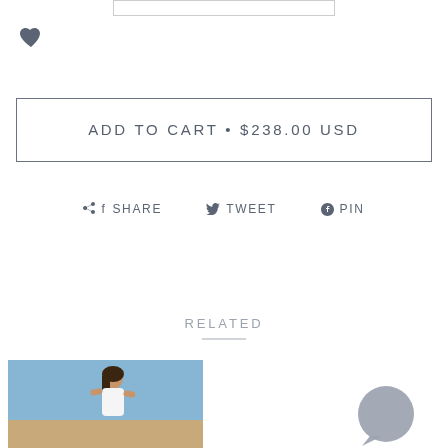[Figure (screenshot): Partial top edge of a bordered input/button element, cropped at the top of the page]
[Figure (illustration): Heart/favorite icon in dark slate color]
ADD TO CART • $238.00 USD
f SHARE   TWEET   PIN
RELATED
[Figure (photo): Woman in white top standing outdoors against a sandy/sky background]
[Figure (photo): Woman wearing sunglasses outdoors against a blue sky, with a circular chat bubble overlay in the bottom right]